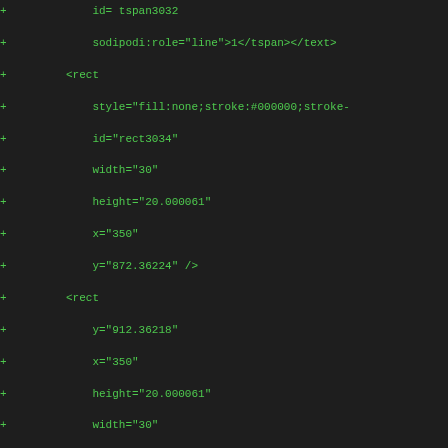diff/code listing showing added XML/SVG rect elements with attributes: id, style, width, height, x, y